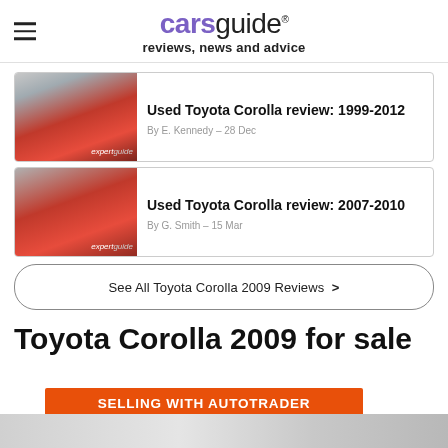carsguide reviews, news and advice
[Figure (photo): Red Toyota Corolla hatchback with boot open at beach, 'expertguide' badge]
Used Toyota Corolla review: 1999-2012
By E. Kennedy – 28 Dec
[Figure (photo): Red Toyota Corolla hatchback side view, 'expertguide' badge]
Used Toyota Corolla review: 2007-2010
By G. Smith – 15 Mar
See All Toyota Corolla 2009 Reviews >
Toyota Corolla 2009 for sale
[Figure (infographic): Orange Autotrader advertisement banner: SELLING WITH AUTOTRADER ISN'T EXPENSIVE]